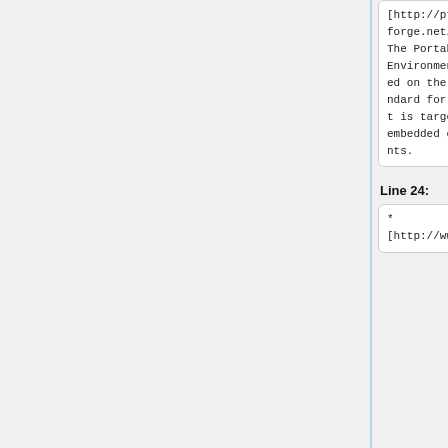[http://pfe.sourceforge.net/ PFE] - The Portable Forth Environment is based on the ANSI Standard for Forth. It is targeted for embedded environments.
[http://pfe.sourceforge.net/ PFE] - The Portable Forth Environment is based on the ANSI Standard for Forth. It is targeted for embedded environments.
Line 24:
Line 26:
* [http://www.
* [http://www.